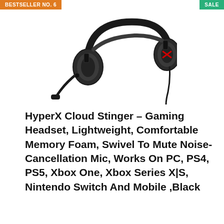BESTSELLER NO. 6
SALE
[Figure (photo): HyperX Cloud Stinger gaming headset in black with red logo, shown at angle with noise-cancellation microphone extended]
HyperX Cloud Stinger – Gaming Headset, Lightweight, Comfortable Memory Foam, Swivel To Mute Noise-Cancellation Mic, Works On PC, PS4, PS5, Xbox One, Xbox Series X|S, Nintendo Switch And Mobile ,Black